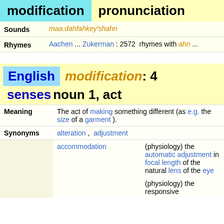modification   pronunciation
| Field | Content |
| --- | --- |
| Sounds | maa.dahfahkey'shahn |
| Rhymes | Aachen ... Zukerman : 2572 rhymes with ahn ... |
English   modification: 4 senses   noun 1, act
| Field | Content |
| --- | --- |
| Meaning | The act of making something different (as e.g. the size of a garment). |
| Synonyms | alteration , adjustment |
|  | accommodation | (physiology) the automatic adjustment in focal length of the natural lens of the eye |
|  | | (physiology) the responsive |